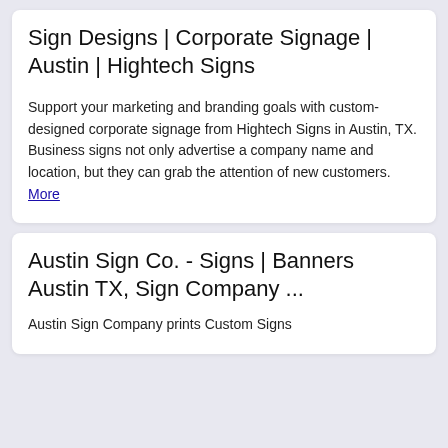Sign Designs | Corporate Signage | Austin | Hightech Signs
Support your marketing and branding goals with custom-designed corporate signage from Hightech Signs in Austin, TX. Business signs not only advertise a company name and location, but they can grab the attention of new customers. More
Austin Sign Co. - Signs | Banners Austin TX, Sign Company ...
Austin Sign Company prints Custom Signs